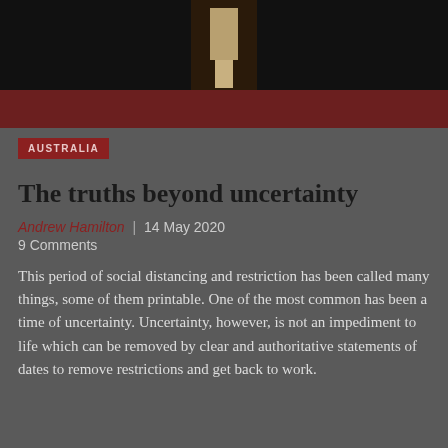[Figure (photo): Dark editorial photo showing a person's lower body/dress against a very dark background, with a dark red/maroon banner at the bottom of the image]
AUSTRALIA
The truths beyond uncertainty
Andrew Hamilton | 14 May 2020
9 Comments
This period of social distancing and restriction has been called many things, some of them printable. One of the most common has been a time of uncertainty. Uncertainty, however, is not an impediment to life which can be removed by clear and authoritative statements of dates to remove restrictions and get back to work.